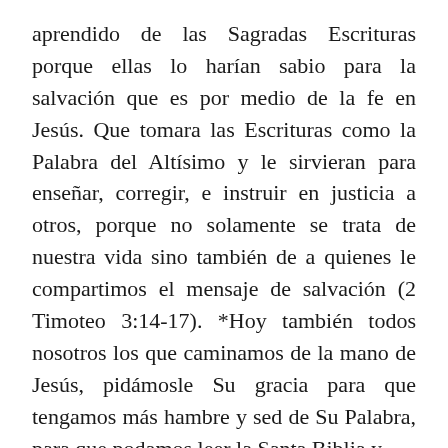aprendido de las Sagradas Escrituras porque ellas lo harían sabio para la salvación que es por medio de la fe en Jesús. Que tomara las Escrituras como la Palabra del Altísimo y le sirvieran para enseñar, corregir, e instruir en justicia a otros, porque no solamente se trata de nuestra vida sino también de a quienes le compartimos el mensaje de salvación (2 Timoteo 3:14-17). *Hoy también todos nosotros los que caminamos de la mano de Jesús, pidámosle Su gracia para que tengamos más hambre y sed de Su Palabra, para que podamos leer la Santa Biblia y